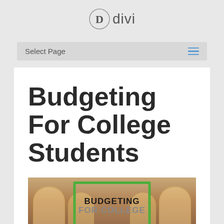Divi
Select Page
Budgeting For College Students
[Figure (photo): A library hall interior with arched windows and warm lighting, overlaid with a green-bordered rectangle containing the text 'BUDGETING FOR COLLEGE' in bold.]